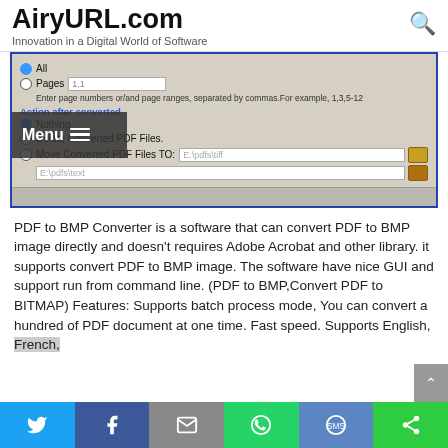AiryURL.com — Innovation in a Digital World of Software
[Figure (screenshot): Screenshot of a PDF to BMP Converter software dialog showing page selection options (All, Pages with text field), hint text for page ranges, Action after converted section with radio buttons (Nothing, Delete Converted PDF Files, Move Converted PDF Files To) and file path input fields with folder browse buttons. A 'Menu' hamburger overlay is visible on the left side.]
PDF to BMP Converter is a software that can convert PDF to BMP image directly and doesn't requires Adobe Acrobat and other library. it supports convert PDF to BMP image. The software have nice GUI and support run from command line. (PDF to BMP,Convert PDF to BITMAP) Features: Supports batch process mode, You can convert a hundred of PDF document at one time. Fast speed. Supports English, French,